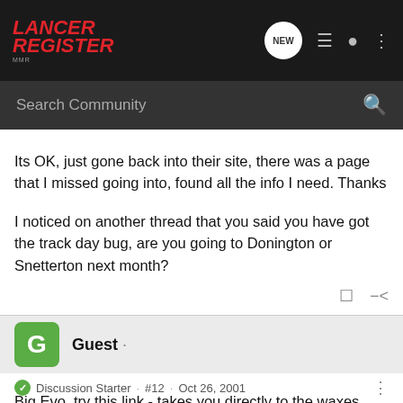Lancer Register · NEW · Search Community
Its OK, just gone back into their site, there was a page that I missed going into, found all the info I need. Thanks

I noticed on another thread that you said you have got the track day bug, are you going to Donington or Snetterton next month?
Guest ·
Discussion Starter · #12 · Oct 26, 2001
Big Evo, try this link - takes you directly to the waxes price list